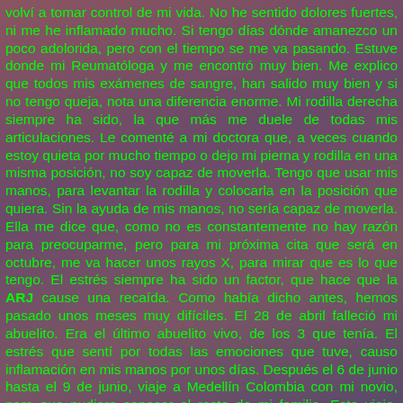volví a tomar control de mi vida. No he sentido dolores fuertes, ni me he inflamado mucho. Si tengo días dónde amanezco un poco adolorida, pero con el tiempo se me va pasando. Estuve donde mi Reumatóloga y me encontró muy bien. Me explico que todos mis exámenes de sangre, han salido muy bien y si no tengo queja, nota una diferencia enorme. Mi rodilla derecha siempre ha sido, la que más me duele de todas mis articulaciones. Le comenté a mi doctora que, a veces cuando estoy quieta por mucho tiempo o dejo mi pierna y rodilla en una misma posición, no soy capaz de moverla. Tengo que usar mis manos, para levantar la rodilla y colocarla en la posición que quiera. Sin la ayuda de mis manos, no sería capaz de moverla. Ella me dice que, como no es constantemente no hay razón para preocuparme, pero para mi próxima cita que será en octubre, me va hacer unos rayos X, para mirar que es lo que tengo. El estrés siempre ha sido un factor, que hace que la ARJ cause una recaída. Como había dicho antes, hemos pasado unos meses muy difíciles. El 28 de abril falleció mi abuelito. Era el último abuelito vivo, de los 3 que tenía. El estrés que sentí por todas las emociones que tuve, causo inflamación en mis manos por unos días. Después el 6 de junio hasta el 9 de junio, viaje a Medellín Colombia con mi novio, para que pudiera conocer el resto de mi familia. Este viaje, aunque fue muy lindo, fue duro a la vez. Era la primera vez que,